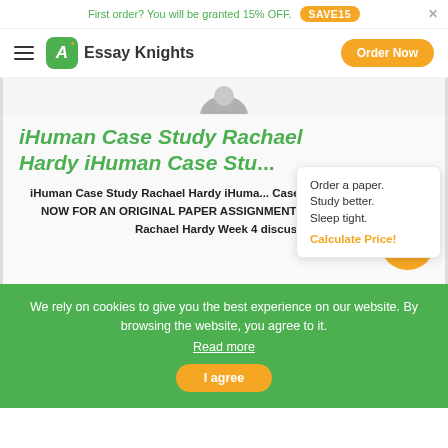First order? You will be granted 15% OFF. SAVE15
Essay Knights - Order Now
iHuman Case Study Rachael Hardy iHuman Case Stu...
iHuman Case Study Rachael Hardy iHuman Case Study Rachael Hardy NOW FOR AN ORIGINAL PAPER ASSIGNMENT:iHuman Case Study Rachael Hardy Week 4 discuss...
Order a paper. Study better. Sleep tight. Calculate Price!
We rely on cookies to give you the best experience on our website. By browsing the website, you agree to it. Read more
I agree